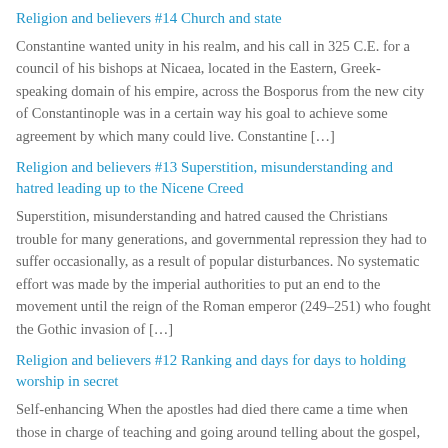Religion and believers #14 Church and state
Constantine wanted unity in his realm, and his call in 325 C.E. for a council of his bishops at Nicaea, located in the Eastern, Greek-speaking domain of his empire, across the Bosporus from the new city of Constantinople was in a certain way his goal to achieve some agreement by which many could live. Constantine […]
Religion and believers #13 Superstition, misunderstanding and hatred leading up to the Nicene Creed
Superstition, misunderstanding and hatred caused the Christians trouble for many generations, and governmental repression they had to suffer occasionally, as a result of popular disturbances. No systematic effort was made by the imperial authorities to put an end to the movement until the reign of the Roman emperor (249–251) who fought the Gothic invasion of […]
Religion and believers #12 Ranking and days for days to holding worship in secret
Self-enhancing When the apostles had died there came a time when those in charge of teaching and going around telling about the gospel, started coming to see themselves as special people. Some even started